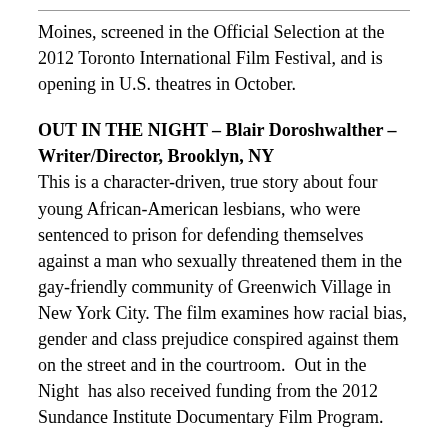Moines, screened in the Official Selection at the 2012 Toronto International Film Festival, and is opening in U.S. theatres in October.
OUT IN THE NIGHT – Blair Doroshwalther – Writer/Director, Brooklyn, NY
This is a character-driven, true story about four young African-American lesbians, who were sentenced to prison for defending themselves against a man who sexually threatened them in the gay-friendly community of Greenwich Village in New York City. The film examines how racial bias, gender and class prejudice conspired against them on the street and in the courtroom.  Out in the Night  has also received funding from the 2012 Sundance Institute Documentary Film Program.
GOOD OL' FREDA – Kathy McCabe –  Producer,